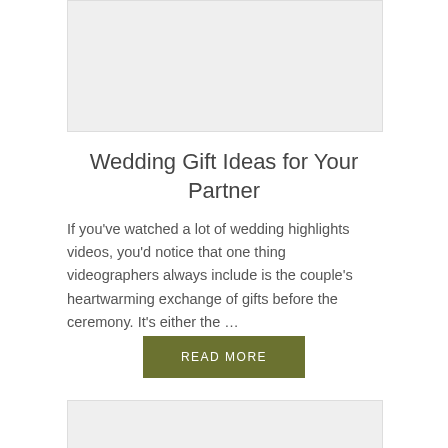[Figure (photo): Gray placeholder image at the top of the article card]
Wedding Gift Ideas for Your Partner
If you've watched a lot of wedding highlights videos, you'd notice that one thing videographers always include is the couple's heartwarming exchange of gifts before the ceremony. It's either the …
READ MORE
[Figure (photo): Gray placeholder image at the bottom, partially visible]